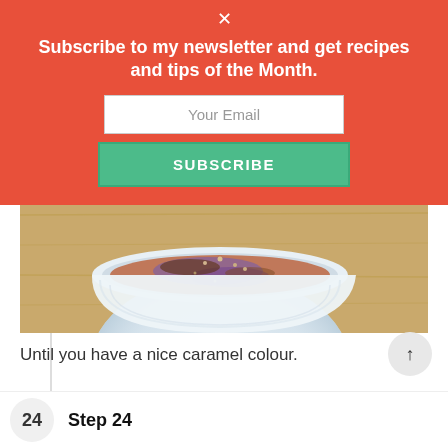[Figure (screenshot): Newsletter subscribe overlay with close X button, headline text, email input field, and green SUBSCRIBE button on a red/coral background]
[Figure (photo): Close-up photo of a white ramekin dish on a wooden cutting board, containing a dessert (creme brulee) with a caramelized top surface showing purple and browned tones]
Until you have a nice caramel colour.
24  Step 24